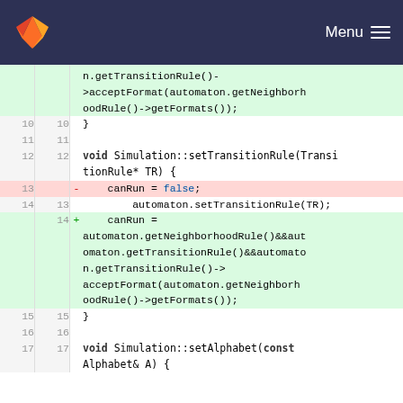GitLab navigation header with logo and Menu button
Code diff view showing changes to Simulation::setTransitionRule and related functions. Lines 10-17 shown with line numbers for old and new versions. Removed line 13: canRun = false; Added line 14: canRun = automaton.getNeighborhoodRule()&&automaton.getTransitionRule()&&automaton.getTransitionRule()->acceptFormat(automaton.getNeighborhoodRule()->getFormats());